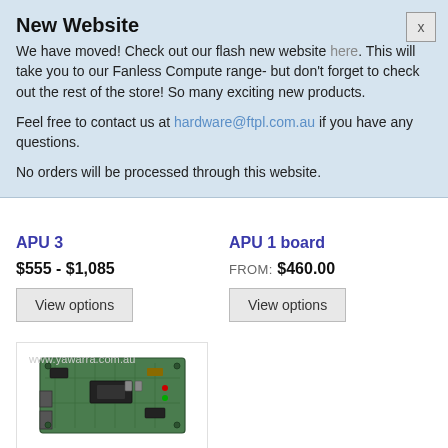New Website
We have moved! Check out our flash new website here. This will take you to our Fanless Compute range- but don't forget to check out the rest of the store! So many exciting new products.
Feel free to contact us at hardware@ftpl.com.au if you have any questions.
No orders will be processed through this website.
APU 3
$555 - $1,085
View options
APU 1 board
FROM: $460.00
View options
[Figure (photo): A green PCB circuit board (APU board) photographed against white background, with watermark www.yawarra.com.au]